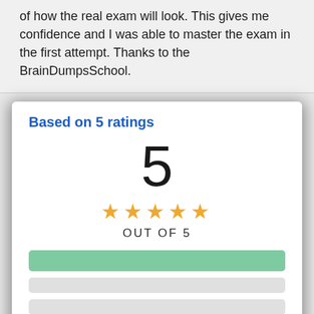of how the real exam will look. This gives me confidence and I was able to master the exam in the first attempt. Thanks to the BrainDumpsSchool.
Based on 5 ratings
5
[Figure (other): Rating display showing 5 out of 5 stars with 4 gold stars shown, OUT OF 5 label, and rating bars (one green full bar and three light gray bars)]